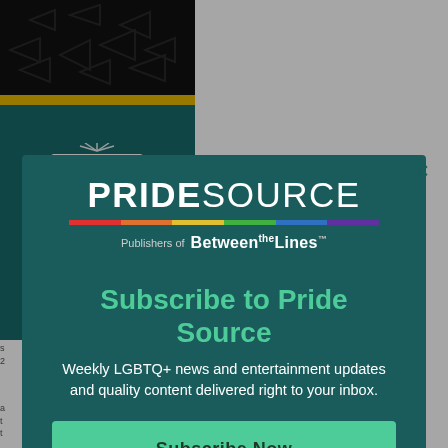[Figure (screenshot): Website screenshot showing a Pride Source newsletter subscription modal overlay on top of a page with a city logo and top banner. The modal has the Pride Source logo (with rainbow bar), 'Publishers of Between the Lines' tagline, 'Subscribe to Pride Source' heading in teal/green, body text about weekly LGBTQ+ news, and a 'Subscribe Now' button. Behind the modal is a dark banner at top and a teal city logo box.]
than Ever